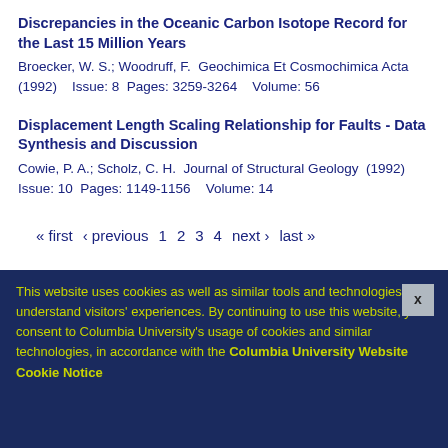Discrepancies in the Oceanic Carbon Isotope Record for the Last 15 Million Years
Broecker, W. S.; Woodruff, F.  Geochimica Et Cosmochimica Acta (1992)    Issue: 8  Pages: 3259-3264    Volume: 56
Displacement Length Scaling Relationship for Faults - Data Synthesis and Discussion
Cowie, P. A.; Scholz, C. H.  Journal of Structural Geology  (1992) Issue: 10  Pages: 1149-1156    Volume: 14
« first  ‹ previous  1  2  3  4  next ›  last »
RESEARCH
Core Repository
Biology & Paleo Environments
Marine Geology & Geophysics
Ocean & Climate Physics
This website uses cookies as well as similar tools and technologies to understand visitors' experiences. By continuing to use this website, you consent to Columbia University's usage of cookies and similar technologies, in accordance with the Columbia University Website Cookie Notice